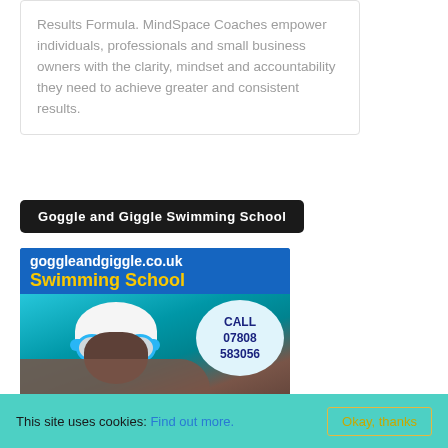Results Formula. MindSpace Coaches empower individuals, professionals and small business owners with the clarity, mindset and accountability they need to achieve greater and consistent results.
Goggle and Giggle Swimming School
[Figure (photo): Advertisement for Goggle and Giggle Swimming School. Shows website goggleandgiggle.co.uk, text 'Swimming School' in yellow, a child swimmer wearing goggles and swim cap, and a call-to-action bubble with 'CALL 07808 583056'. Blue background.]
This site uses cookies: Find out more. Okay, thanks